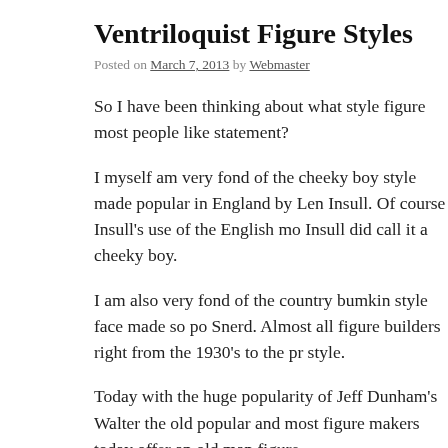Ventriloquist Figure Styles
Posted on March 7, 2013 by Webmaster
So I have been thinking about what style figure most people like statement?
I myself am very fond of the cheeky boy style made popular in England by Len Insull. Of course Insull's use of the English mo Insull did call it a cheeky boy.
I am also very fond of the country bumkin style face made so po Snerd. Almost all figure builders right from the 1930's to the pr style.
Today with the huge popularity of Jeff Dunham's Walter the old popular and most figure makers today offer an old man figure.
I also like figures that do not have a very real looking face. I lik nature.